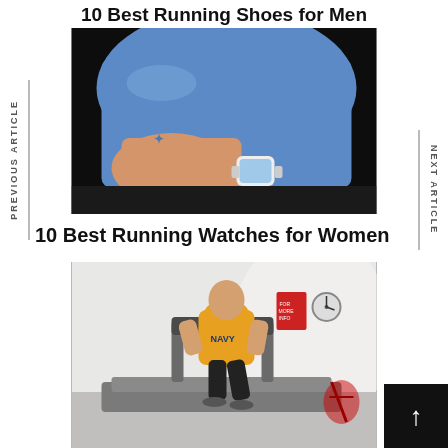10 Best Running Shoes for Men Under $50
[Figure (photo): Close-up of a woman's torso wearing a blue athletic top and a white running watch, running against a dark background.]
10 Best Running Watches for Women
[Figure (photo): A bald man wearing a yellow Navy t-shirt running on a treadmill in a gym with exercise equipment in the background.]